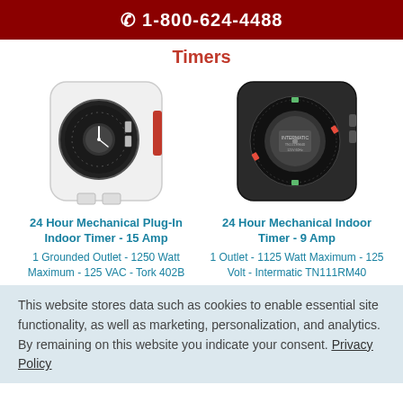☎ 1-800-624-4488
Timers
[Figure (photo): White plug-in mechanical timer with circular dial face]
[Figure (photo): Black square mechanical indoor timer with circular dial face and red tabs]
24 Hour Mechanical Plug-In Indoor Timer - 15 Amp
1 Grounded Outlet - 1250 Watt Maximum - 125 VAC - Tork 402B
24 Hour Mechanical Indoor Timer - 9 Amp
1 Outlet - 1125 Watt Maximum - 125 Volt - Intermatic TN111RM40
This website stores data such as cookies to enable essential site functionality, as well as marketing, personalization, and analytics. By remaining on this website you indicate your consent. Privacy Policy